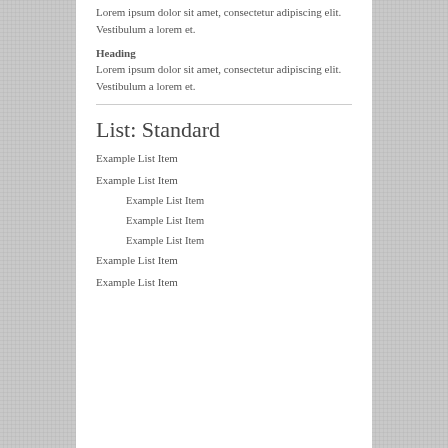Lorem ipsum dolor sit amet, consectetur adipiscing elit. Vestibulum a lorem et.
Heading
Lorem ipsum dolor sit amet, consectetur adipiscing elit. Vestibulum a lorem et.
List: Standard
Example List Item
Example List Item
Example List Item
Example List Item
Example List Item
Example List Item
Example List Item